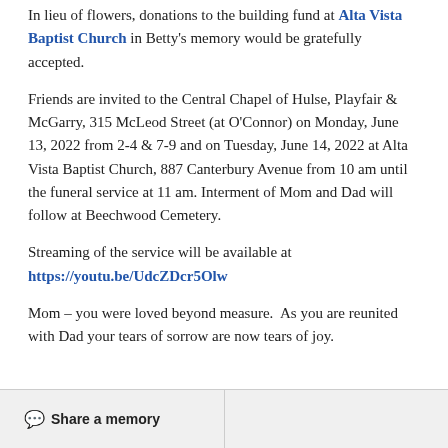In lieu of flowers, donations to the building fund at Alta Vista Baptist Church in Betty's memory would be gratefully accepted.
Friends are invited to the Central Chapel of Hulse, Playfair & McGarry, 315 McLeod Street (at O'Connor) on Monday, June 13, 2022 from 2-4 & 7-9 and on Tuesday, June 14, 2022 at Alta Vista Baptist Church, 887 Canterbury Avenue from 10 am until the funeral service at 11 am. Interment of Mom and Dad will follow at Beechwood Cemetery.
Streaming of the service will be available at https://youtu.be/UdcZDcr5Olw
Mom – you were loved beyond measure.  As you are reunited with Dad your tears of sorrow are now tears of joy.
Share a memory